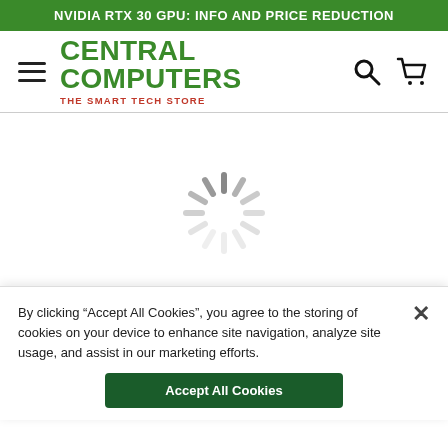NVIDIA RTX 30 GPU: INFO AND PRICE REDUCTION
[Figure (logo): Central Computers logo with hamburger menu icon on left, search and cart icons on right]
[Figure (other): Loading spinner (circular dashed spinner animation icon)]
By clicking “Accept All Cookies”, you agree to the storing of cookies on your device to enhance site navigation, analyze site usage, and assist in our marketing efforts.